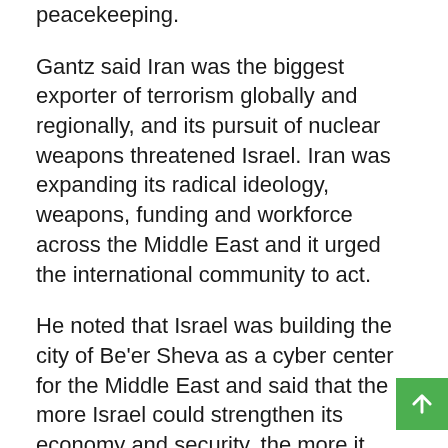peacekeeping.
Gantz said Iran was the biggest exporter of terrorism globally and regionally, and its pursuit of nuclear weapons threatened Israel. Iran was expanding its radical ideology, weapons, funding and workforce across the Middle East and it urged the international community to act.
He noted that Israel was building the city of Be'er Sheva as a cyber center for the Middle East and said that the more Israel could strengthen its economy and security, the more it could expand its relations with countries in the region. The Minister thanked Australia for supporting the Abraham's Agreements and suggested that they should be extended to other states.
Participants discussed how the Taliban victory had spurred extremist movements around the world. Afghanistan could face a growing internal conflict between the Taliban, Islamic State Khorasan and al-Qaeda-linked groups and become a magnet for foreign fighters who ultimately seek to rebuild their ability to